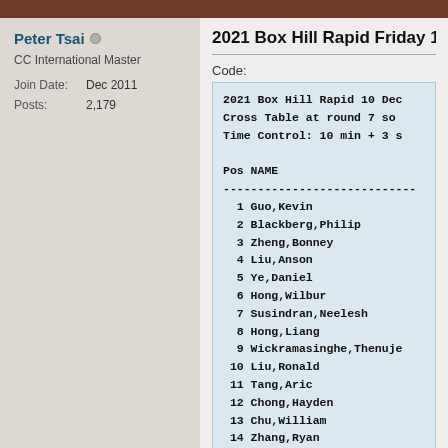Peter Tsai
CC International Master
Join Date: Dec 2011
Posts: 2,179
2021 Box Hill Rapid Friday 10 De
Code:
2021 Box Hill Rapid 10 Dec
Cross Table at round 7 so
Time Control: 10 min + 3 s

Pos NAME
----------------------------
  1 Guo,Kevin
  2 Blackberg,Philip
  3 Zheng,Bonney
  4 Liu,Anson
  5 Ye,Daniel
  6 Hong,Wilbur
  7 Susindran,Neelesh
  8 Hong,Liang
  9 Wickramasinghe,Thenuje
 10 Liu,Ronald
 11 Tang,Aric
 12 Chong,Hayden
 13 Chu,William
 14 Zhang,Ryan
 15 Guo,Hao
 16 Guo,Charlie